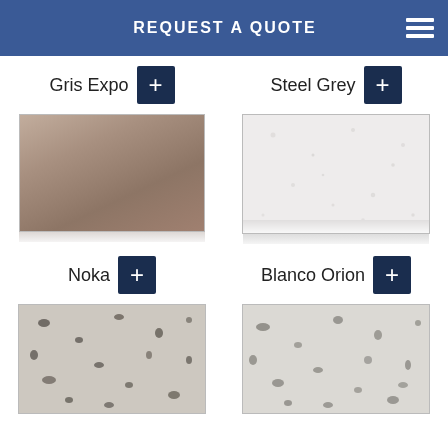REQUEST A QUOTE
Gris Expo
Steel Grey
[Figure (photo): Gris Expo stone/solid color swatch - taupe/brown glossy finish]
[Figure (photo): Steel Grey stone swatch - light grey/white speckled stone texture]
Noka
Blanco Orion
[Figure (photo): Noka stone swatch - light grey granite with dark speckles]
[Figure (photo): Blanco Orion stone swatch - white granite with grey and black speckles]